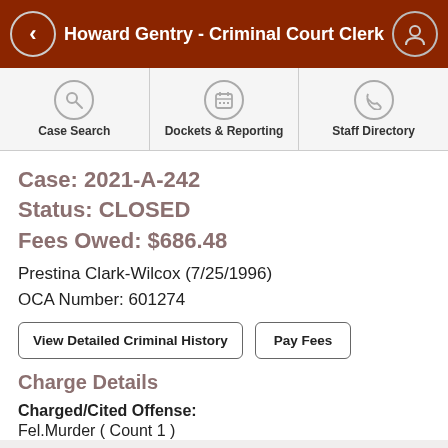Howard Gentry - Criminal Court Clerk
Case Search | Dockets & Reporting | Staff Directory
Case: 2021-A-242
Status: CLOSED
Fees Owed: $686.48
Prestina Clark-Wilcox (7/25/1996)
OCA Number: 601274
View Detailed Criminal History | Pay Fees
Charge Details
Charged/Cited Offense:
Fel.Murder ( Count 1 )